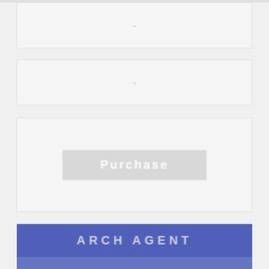-
-
Purchase
ARCH AGENT
$259 mo
LISTS